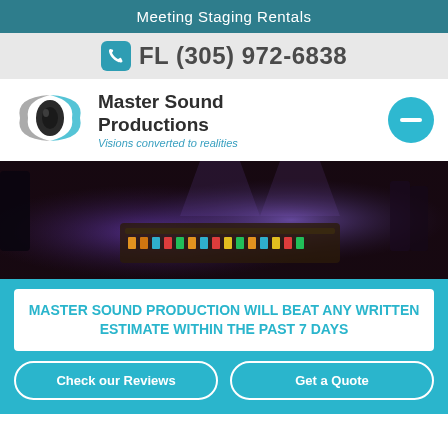Meeting Staging Rentals
FL (305) 972-6838
[Figure (logo): Master Sound Productions logo with eye/lens graphic]
Master Sound Productions
Visions converted to realities
[Figure (photo): Blurred photo of a sound mixing board with stage lighting in purple/blue tones]
MASTER SOUND PRODUCTION WILL BEAT ANY WRITTEN ESTIMATE WITHIN THE PAST 7 DAYS
Check our Reviews
Get a Quote